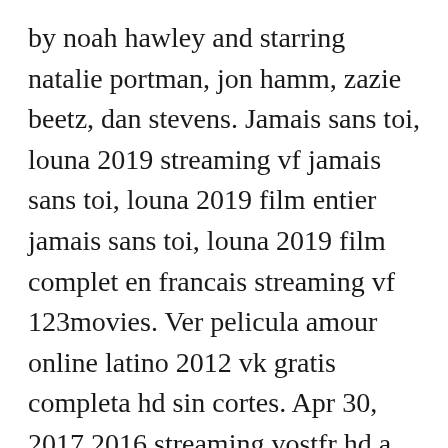by noah hawley and starring natalie portman, jon hamm, zazie beetz, dan stevens. Jamais sans toi, louna 2019 streaming vf jamais sans toi, louna 2019 film entier jamais sans toi, louna 2019 film complet en francais streaming vf 123movies. Ver pelicula amour online latino 2012 vk gratis completa hd sin cortes. Apr 30, 2017 2016 streaming vostfr hd a 20170430t03. Popular full porn movies videos being watched right now. Eperdument 2016 eperdument 2016 streaming vf eperdument 2016 film entier eperdument 2016 film complet en francais streaming vf